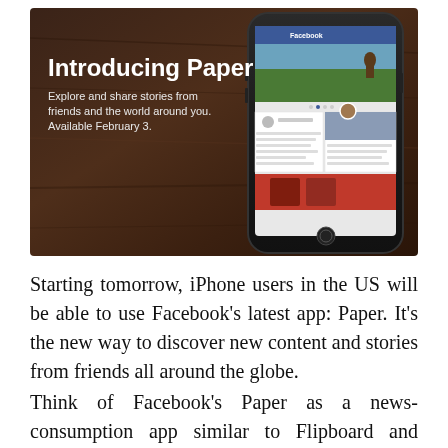[Figure (screenshot): Facebook Paper app promotional banner showing a smartphone with the Paper app open, displaying cards with news stories, on a dark wooden surface. White text on left reads 'Introducing Paper' with subtitle 'Explore and share stories from friends and the world around you. Available February 3.']
Starting tomorrow, iPhone users in the US will be able to use Facebook's latest app: Paper. It's the new way to discover new content and stories from friends all around the globe.
Think of Facebook's Paper as a news-consumption app similar to Flipboard and Google Currents, but the content is interspersed with